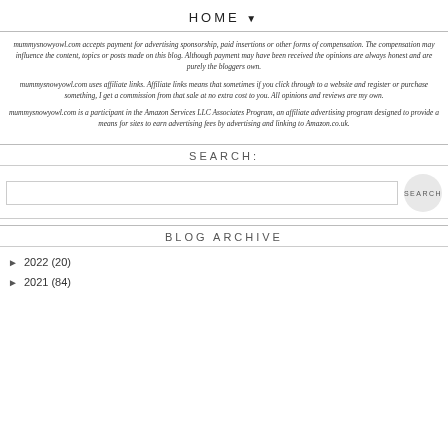HOME ▼
mummysnowyowl.com accepts payment for advertising sponsorship, paid insertions or other forms of compensation. The compensation may influence the content, topics or posts made on this blog. Although payment may have been received the opinions are always honest and are purely the bloggers own.
mummysnowyowl.com uses affiliate links. Affiliate links means that sometimes if you click through to a website and register or purchase something, I get a commission from that sale at no extra cost to you. All opinions and reviews are my own.
mummysnowyowl.com is a participant in the Amazon Services LLC Associates Program, an affiliate advertising program designed to provide a means for sites to earn advertising fees by advertising and linking to Amazon.co.uk.
SEARCH:
BLOG ARCHIVE
2022 (20)
2021 (84)